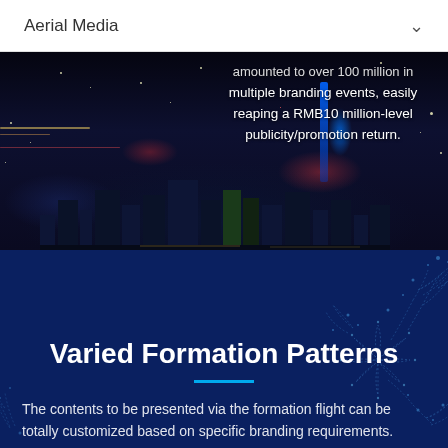Aerial Media
[Figure (photo): Night aerial city view with lights, showing urban skyline in dark background with text overlay about branding events]
amounted to over 100 million in multiple branding events, easily reaping a RMB10 million-level publicity/promotion return.
[Figure (illustration): Dark blue background with decorative dotted floral/botanical pattern on right side and bottom left corner]
Varied Formation Patterns
The contents to be presented via the formation flight can be totally customized based on specific branding requirements.